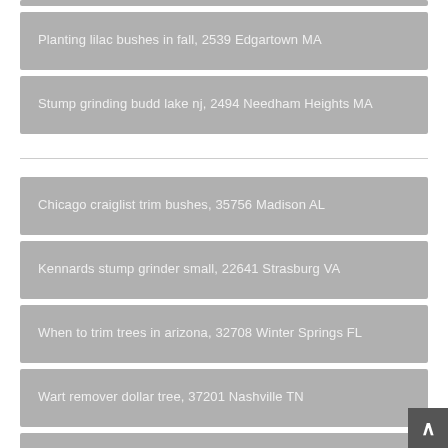Planting lilac bushes in fall, 2539 Edgartown MA
Stump grinding budd lake nj, 2494 Needham Heights MA
Chicago craiglist trim bushes, 35756 Madison AL
Kennards stump grinder small, 22641 Strasburg VA
When to trim trees in arizona, 32708 Winter Springs FL
Wart remover dollar tree, 37201 Nashville TN